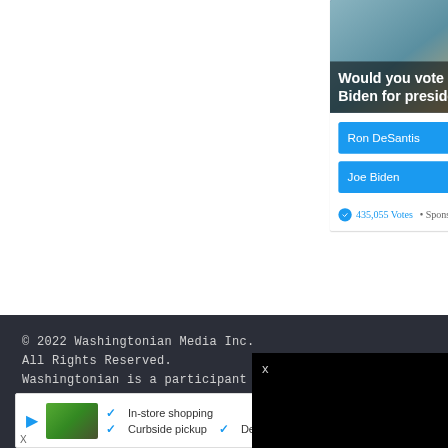[Figure (screenshot): Poll widget showing two photos (Ron DeSantis on left, Joe Biden on right) with overlaid text question and two blue vote buttons below. Shows 435,055 Votes and Sponsored Ad label.]
Would you vote for Ron DeSantis or Joe Biden for president?
Ron DeSantis
Joe Biden
435,055 Votes • Sponsored Ad
© 2022 Washingtonian Media Inc.
All Rights Reserved.
Washingtonian is a participant in the Amazon Services LLC Associates Program, an affiliate advertising program designed to provide a means for sites to earn advertising fees by advertising and linking to Amazon.com.
PRIVACY POLICY AND OPT-OUT
[Figure (screenshot): Black video overlay box with close X button]
[Figure (screenshot): Bottom advertisement banner with store thumbnail, checkmarks for In-store shopping, Curbside pickup, Delivery, and a blue diamond arrow icon]